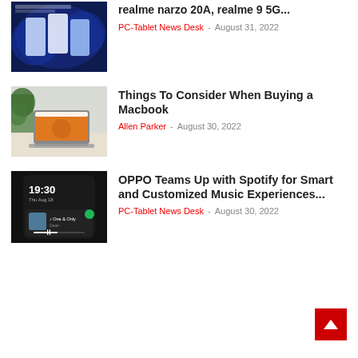[Figure (photo): Realme smartphone product image on dark blue background with text]
realme narzo 20A, realme 9 5G...
PC-Tablet News Desk - August 31, 2022
[Figure (photo): MacBook laptop on desk with plant in background]
Things To Consider When Buying a Macbook
Allen Parker - August 30, 2022
[Figure (photo): Smartphone screen showing music player with Spotify, time 19:30]
OPPO Teams Up with Spotify for Smart and Customized Music Experiences...
PC-Tablet News Desk - August 30, 2022